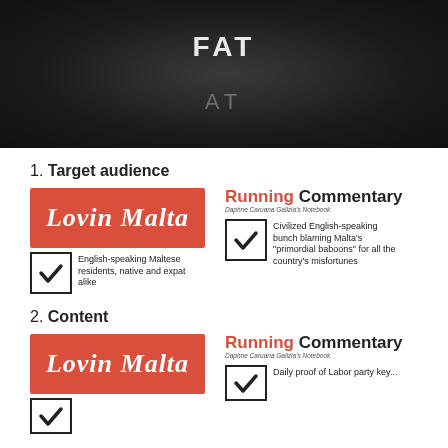[Figure (illustration): Dark chalkboard-style banner with white text 'FAT' at top and grey text 'AT' below center]
1. Target audience
[Figure (infographic): Two publication logos side by side. Left: Lovin Malta logo (red background, white italic script) with checkmark and label 'English-speaking Maltese residents, native and expat alike'. Right: Running Commentary logo (red and black bold text, subtitle 'Daphne Caruana Galizia's Notebook') with checkmark and label 'Civilized English-speaking bunch blaming Malta's "primordial baboons" for all the country's misfortunes']
2. Content
[Figure (infographic): Two publication logos side by side (partial). Left: Lovin Malta logo (red background, white italic script) with partial checkmark. Right: Running Commentary logo with partial checkmark and label beginning 'Daily proof of Labor party key...']